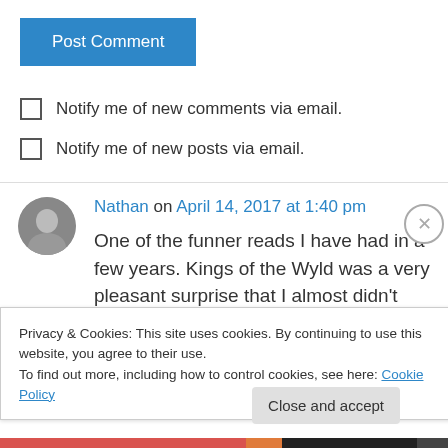[Figure (other): Blue 'Post Comment' button]
Notify me of new comments via email.
Notify me of new posts via email.
Nathan on April 14, 2017 at 1:40 pm
One of the funner reads I have had in a few years. Kings of the Wyld was a very pleasant surprise that I almost didn't read because of the
Privacy & Cookies: This site uses cookies. By continuing to use this website, you agree to their use.
To find out more, including how to control cookies, see here: Cookie Policy
Close and accept